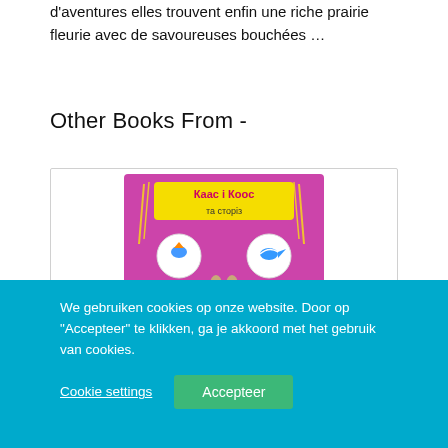d'aventures elles trouvent enfin une riche prairie fleurie avec de savoureuses bouchées …
Other Books From -
[Figure (illustration): Book cover showing 'Каас і Коос та сторіз' (Kaas i Koos ta stories) with cartoon animal characters on a purple/pink background with circular vignettes of adventure scenes]
We gebruiken cookies op onze website. Door op "Accepteer" te klikken, ga je akkoord met het gebruik van cookies.
Cookie settings
Accepteer